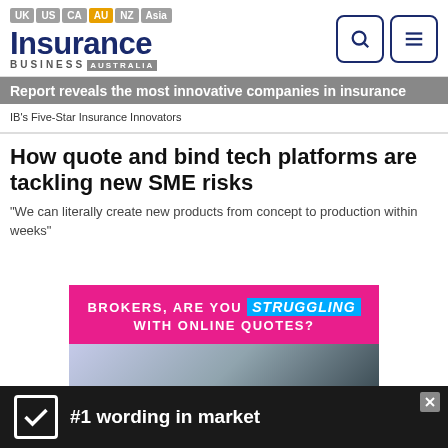UK US CA AU NZ Asia — Insurance Business Australia
Report reveals the most innovative companies in insurance
IB's Five-Star Insurance Innovators
How quote and bind tech platforms are tackling new SME risks
"We can literally create new products from concept to production within weeks"
[Figure (infographic): Pink advertisement banner reading 'BROKERS, ARE YOU STRUGGLING WITH ONLINE QUOTES?' with a photo of office workers below]
[Figure (infographic): Black bottom ad bar with checkbox icon and text '#1 wording in market']